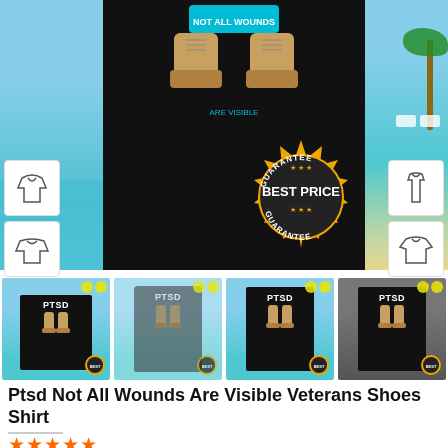[Figure (photo): Product listing page for a PTSD Veterans t-shirt. Main image shows a black t-shirt on a beach background with boots graphic, flanked by clothing type icons on left and right, and a 'Best Price Guarantee' badge. Below are four thumbnail images of the product in different styles. Product title reads 'Ptsd Not All Wounds Are Visible Veterans Shoes Shirt'. A star rating of 5 stars is shown at the bottom.]
Ptsd Not All Wounds Are Visible Veterans Shoes Shirt